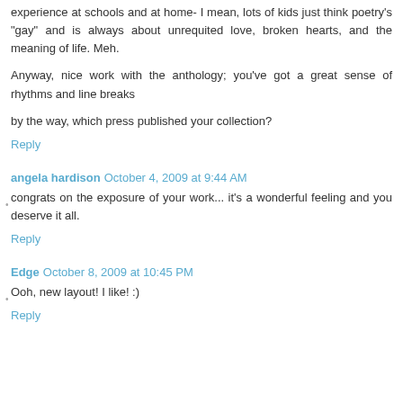experience at schools and at home- I mean, lots of kids just think poetry's "gay" and is always about unrequited love, broken hearts, and the meaning of life. Meh.
Anyway, nice work with the anthology; you've got a great sense of rhythms and line breaks
by the way, which press published your collection?
Reply
angela hardison October 4, 2009 at 9:44 AM
congrats on the exposure of your work... it's a wonderful feeling and you deserve it all.
Reply
Edge October 8, 2009 at 10:45 PM
Ooh, new layout! I like! :)
Reply